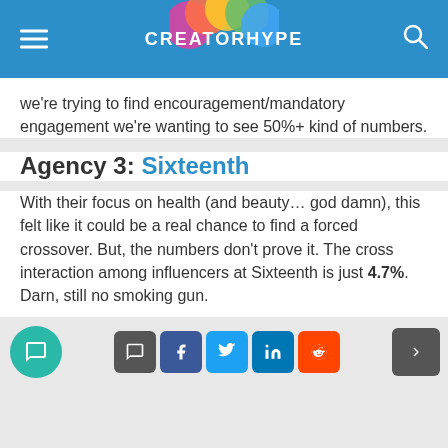CREATORHYPE
we're trying to find encouragement/mandatory engagement we're wanting to see 50%+ kind of numbers.
Agency 3: Sixteenth
With their focus on health (and beauty… god damn), this felt like it could be a real chance to find a forced crossover. But, the numbers don't prove it. The cross interaction among influencers at Sixteenth is just 4.7%. Darn, still no smoking gun.
Share buttons: comment, facebook, twitter, linkedin, reddit. Next page button.